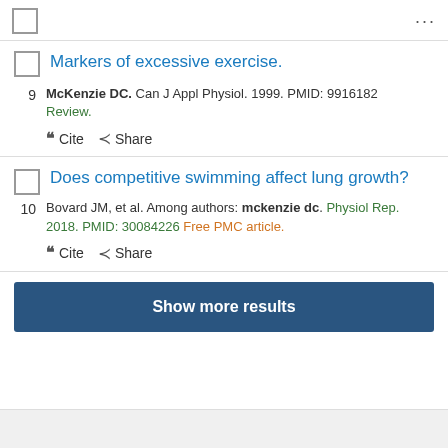[Figure (screenshot): Checkbox and ellipsis menu in top bar]
Markers of excessive exercise.
McKenzie DC. Can J Appl Physiol. 1999. PMID: 9916182 Review.
Cite  Share
Does competitive swimming affect lung growth?
Bovard JM, et al. Among authors: mckenzie dc. Physiol Rep. 2018. PMID: 30084226 Free PMC article.
Cite  Share
Show more results